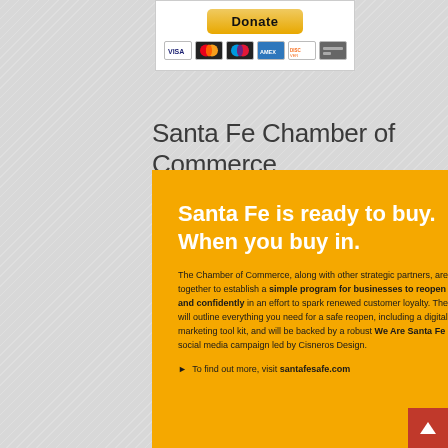[Figure (other): Donate button with PayPal-style yellow button and credit card icons (Visa, Mastercard, Maestro, American Express, Discover, and one more) inside a white box]
Santa Fe Chamber of Commerce
[Figure (infographic): Yellow promo box with white headline text 'Santa Fe is ready to buy. When you buy in.' and body text about a program for businesses to reopen safely and confidently, with a link to santafesafe.com. Has a folded white corner at bottom right.]
Santa Fe is ready to buy. When you buy in.
The Chamber of Commerce, along with other strategic partners, are coming together to establish a simple program for businesses to reopen safely and confidently in an effort to spark renewed customer loyalty. The program will outline everything you need for a safe reopen, including a digital marketing tool kit, and will be backed by a robust We Are Santa Fe SAFE social media campaign led by Cisneros Design.
▶ To find out more, visit santafesafe.com